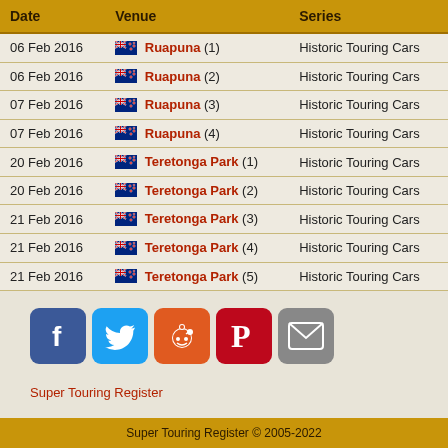| Date | Venue | Series |
| --- | --- | --- |
| 06 Feb 2016 | Ruapuna (1) | Historic Touring Cars |
| 06 Feb 2016 | Ruapuna (2) | Historic Touring Cars |
| 07 Feb 2016 | Ruapuna (3) | Historic Touring Cars |
| 07 Feb 2016 | Ruapuna (4) | Historic Touring Cars |
| 20 Feb 2016 | Teretonga Park (1) | Historic Touring Cars |
| 20 Feb 2016 | Teretonga Park (2) | Historic Touring Cars |
| 21 Feb 2016 | Teretonga Park (3) | Historic Touring Cars |
| 21 Feb 2016 | Teretonga Park (4) | Historic Touring Cars |
| 21 Feb 2016 | Teretonga Park (5) | Historic Touring Cars |
[Figure (infographic): Social media share buttons: Facebook, Twitter, Reddit, Pinterest, Email]
Super Touring Register
Super Touring Register © 2005-2022